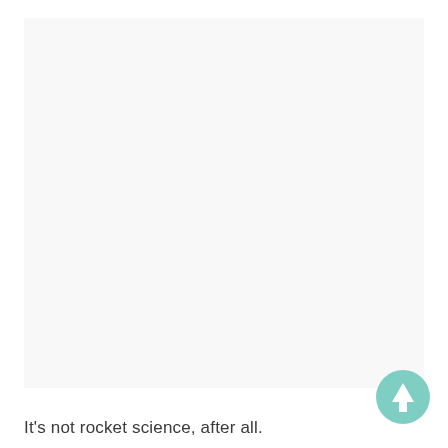[Figure (other): Large light gray/off-white blank rectangular area filling most of the page]
[Figure (other): Teal/mint circular button with white upward arrow icon, positioned bottom right]
It's not rocket science, after all.